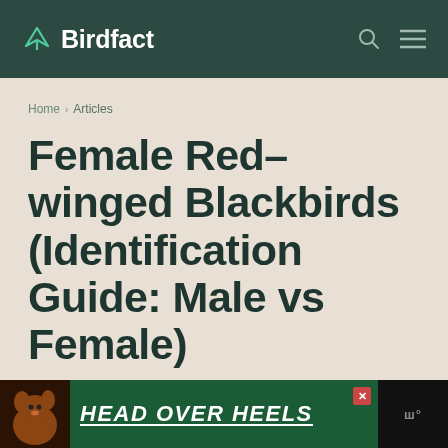Birdfact
Home › Articles
Female Red-winged Blackbirds (Identification Guide: Male vs Female)
[Figure (advertisement): Advertisement banner showing a dog with text HEAD OVER HEELS on dark green background]